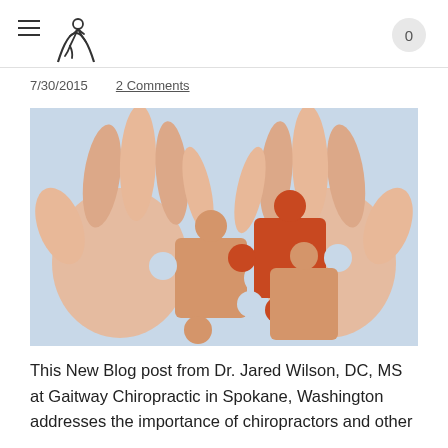≡ [logo] 0
7/30/2015   2 Comments
[Figure (photo): Two hands holding wooden puzzle pieces about to fit together, one piece is orange and one is natural wood color, against a light blue background.]
This New Blog post from Dr. Jared Wilson, DC, MS at Gaitway Chiropractic in Spokane, Washington addresses the importance of chiropractors and other